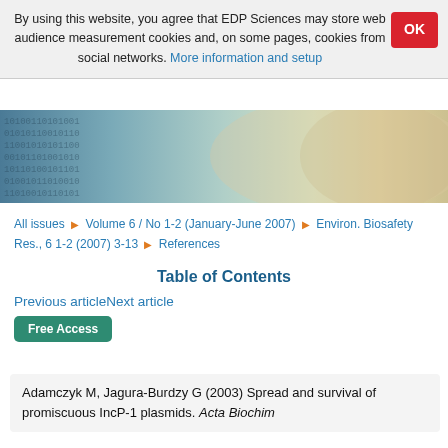By using this website, you agree that EDP Sciences may store web audience measurement cookies and, on some pages, cookies from social networks. More information and setup
[Figure (photo): Banner image showing binary code (0s and 1s) overlaid on what appears to be a Euro banknote, in blue-grey and beige tones]
All issues ▶ Volume 6 / No 1-2 (January-June 2007) ▶ Environ. Biosafety Res., 6 1-2 (2007) 3-13 ▶ References
Table of Contents
Previous articleNext article
Free Access
Adamczyk M, Jagura-Burdzy G (2003) Spread and survival of promiscuous IncP-1 plasmids. Acta Biochim